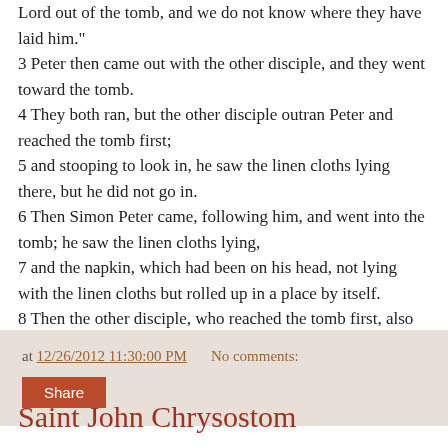Lord out of the tomb, and we do not know where they have laid him." 3 Peter then came out with the other disciple, and they went toward the tomb. 4 They both ran, but the other disciple outran Peter and reached the tomb first; 5 and stooping to look in, he saw the linen cloths lying there, but he did not go in. 6 Then Simon Peter came, following him, and went into the tomb; he saw the linen cloths lying, 7 and the napkin, which had been on his head, not lying with the linen cloths but rolled up in a place by itself. 8 Then the other disciple, who reached the tomb first, also went in, and he saw and believed;
at 12/26/2012 11:30:00 PM   No comments:
Share
Saint John Chrysostom